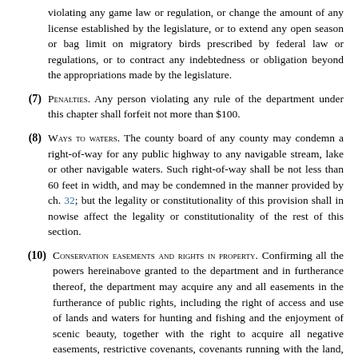violating any game law or regulation, or change the amount of any license established by the legislature, or to extend any open season or bag limit on migratory birds prescribed by federal law or regulations, or to contract any indebtedness or obligation beyond the appropriations made by the legislature.
(7) PENALTIES. Any person violating any rule of the department under this chapter shall forfeit not more than $100.
(8) WAYS TO WATERS. The county board of any county may condemn a right-of-way for any public highway to any navigable stream, lake or other navigable waters. Such right-of-way shall be not less than 60 feet in width, and may be condemned in the manner provided by ch. 32; but the legality or constitutionality of this provision shall in nowise affect the legality or constitutionality of the rest of this section.
(10) CONSERVATION EASEMENTS AND RIGHTS IN PROPERTY. Confirming all the powers hereinabove granted to the department and in furtherance thereof, the department may acquire any and all easements in the furtherance of public rights, including the right of access and use of lands and waters for hunting and fishing and the enjoyment of scenic beauty, together with the right to acquire all negative easements, restrictive covenants, covenants running with the land, and all rights for use of property of any nature whatsoever, however denominated, which may be lawfully acquired for the benefit of the public. The department also may grant leases and easements to properties and other lands under its management and control.